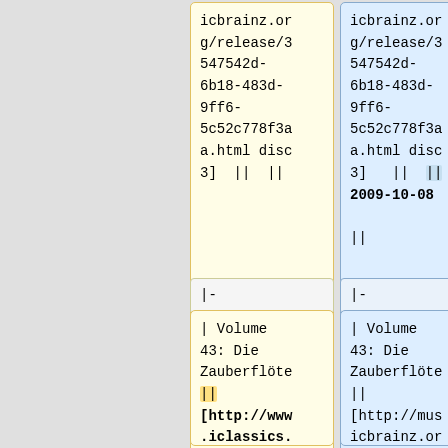icbrainz.org/release/3547542d-6b18-483d-9ff6-5c52c778f3aa.html disc 3] || ||
icbrainz.org/release/3547542d-6b18-483d-9ff6-5c52c778f3aa.html disc 3] || || 2009-10-08 ||
|-
|-
| Volume 43: Die Zauberflöte || [http://www.iclassics.com/productDetail?contentId=6
| Volume 43: Die Zauberflöte || [http://musicbrainz.org/show/release/?releaseid=6